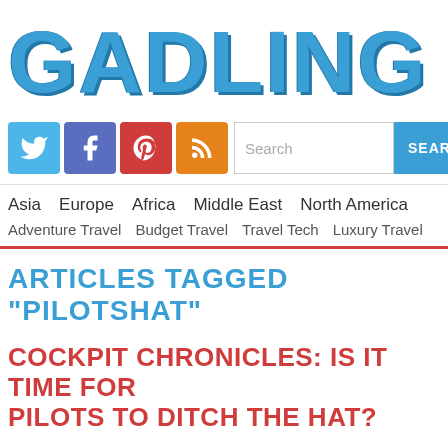GADLING
[Figure (logo): Social media icons: Twitter (blue), Facebook (purple), Pinterest (red), RSS (orange)]
Search
Asia  Europe  Africa  Middle East  North America
Adventure Travel  Budget Travel  Travel Tech  Luxury Travel
ARTICLES TAGGED "PILOTSHAT"
COCKPIT CHRONICLES: IS IT TIME FOR PILOTS TO DITCH THE HAT?